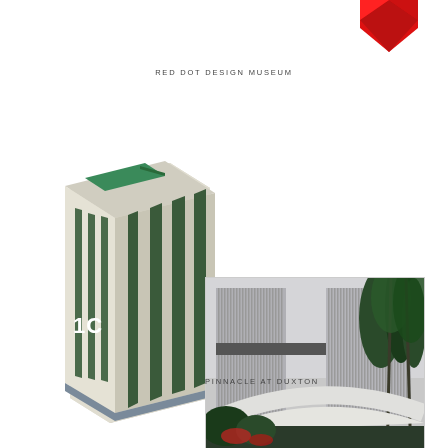[Figure (illustration): Partial red geometric/diamond shape at top right corner]
RED DOT DESIGN MUSEUM
[Figure (illustration): 3D isometric illustration of a tall building block with green roof and dark green vertical stripes on a cream/beige facade, with '1C' label on the front face, blue-grey base]
[Figure (photo): Photograph of tall modern residential building (Pinnacle at Duxton) taken from below, showing vertical fins/louvers, sky and palm trees in background]
PINNACLE AT DUXTON